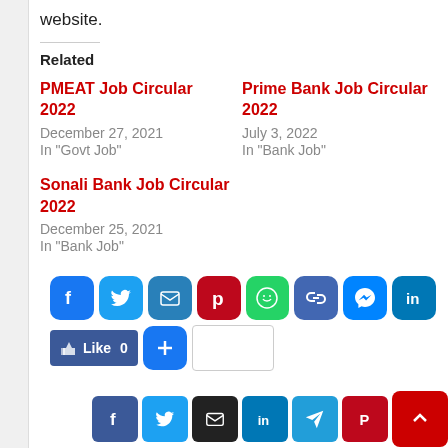website.
Related
PMEAT Job Circular 2022
December 27, 2021
In "Govt Job"
Prime Bank Job Circular 2022
July 3, 2022
In "Bank Job"
Sonali Bank Job Circular 2022
December 25, 2021
In "Bank Job"
[Figure (infographic): Social share buttons: Facebook, Twitter, Email, Pinterest, WhatsApp, Link, Messenger, LinkedIn; Like button with count 0, plus button, and empty share count box]
[Figure (infographic): Bottom sticky bar with social icons: Facebook, Twitter, Email, LinkedIn, Telegram, Pinterest, and a red scroll-to-top button with upward chevron]